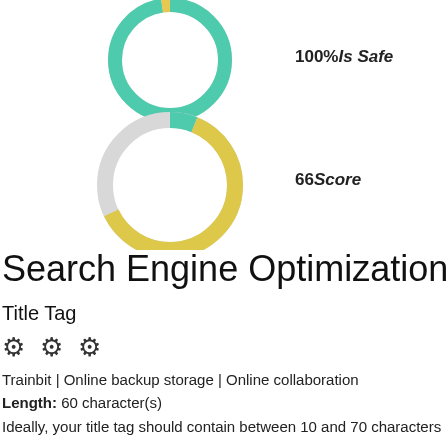[Figure (donut-chart): Two donut/ring charts stacked vertically on the left side. Top ring is mostly green/teal. Bottom ring is partially teal and partially yellow, with a gray gap. Labels to the right: '100%Is Safe' and '66Score'.]
100%Is Safe
66Score
Search Engine Optimization
Title Tag
⚙ ⚙ ⚙
Trainbit | Online backup storage | Online collaboration
Length: 60 character(s)
Ideally, your title tag should contain between 10 and 70 characters